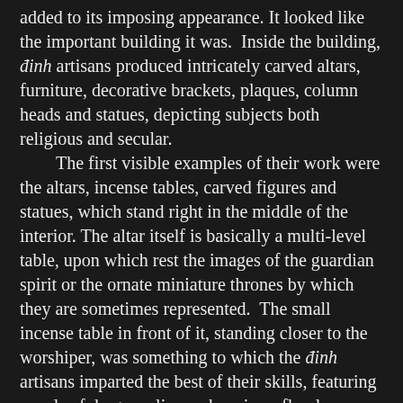added to its imposing appearance. It looked like the important building it was. Inside the building, đinh artisans produced intricately carved altars, furniture, decorative brackets, plaques, column heads and statues, depicting subjects both religious and secular.
	The first visible examples of their work were the altars, incense tables, carved figures and statues, which stand right in the middle of the interior. The altar itself is basically a multi-level table, upon which rest the images of the guardian spirit or the ornate miniature thrones by which they are sometimes represented. The small incense table in front of it, standing closer to the worshiper, was something to which the đinh artisans imparted the best of their skills, featuring panels of dragons, lions, phoenixes, floral vegetation, etc., while on the four corners stood openwork carvings.
	Mounted above the altar was the large, ornamental panel called cửa võng. These were done in a variety of shapes and styles, no two alike, employing an array of carving and chiseling methods and the most ornate designs. They could take the shape of a three-sided canopy, as at Đồng Kỵ in Bắc Ninh, or a multi-paneled arrangement of carved elements on the frames and posts of a triple window, as in